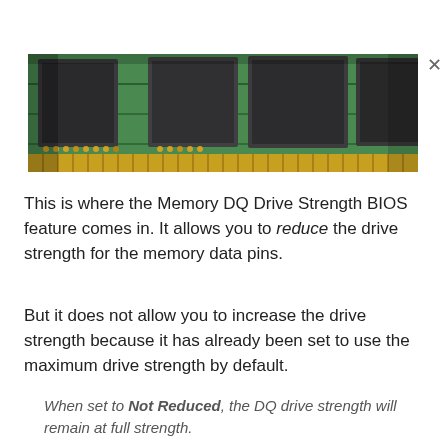[Figure (photo): Close-up photograph of RAM memory modules on a green circuit board, showing dark grey memory chips with gold contact pins]
This is where the Memory DQ Drive Strength BIOS feature comes in. It allows you to reduce the drive strength for the memory data pins.
But it does not allow you to increase the drive strength because it has already been set to use the maximum drive strength by default.
When set to Not Reduced, the DQ drive strength will remain at full strength.